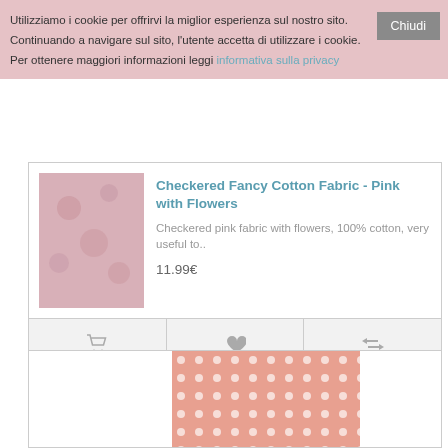Utilizziamo i cookie per offrirvi la miglior esperienza sul nostro sito. Continuando a navigare sul sito, l'utente accetta di utilizzare i cookie. Per ottenere maggiori informazioni leggi informativa sulla privacy
Checkered Fancy Cotton Fabric - Pink with Flowers
Checkered pink fabric with flowers, 100% cotton, very useful to..
11.99€
[Figure (screenshot): Product card bottom action bar with cart, heart/wishlist, and compare icons]
[Figure (photo): Salmon/peach colored fabric with white polka dot pattern]